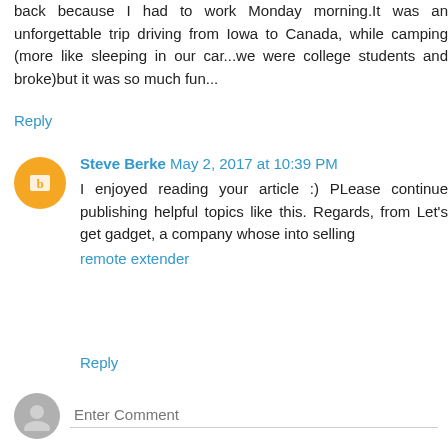back because I had to work Monday morning.It was an unforgettable trip driving from Iowa to Canada, while camping (more like sleeping in our car...we were college students and broke)but it was so much fun...
Reply
Steve Berke  May 2, 2017 at 10:39 PM
I enjoyed reading your article :) PLease continue publishing helpful topics like this. Regards, from Let's get gadget, a company whose into selling
remote extender
Reply
Enter Comment
I respond to comments via email, so make sure I can respond!
For a faster response, please use Twitter or email:
cllegsaeyou@gmail.com